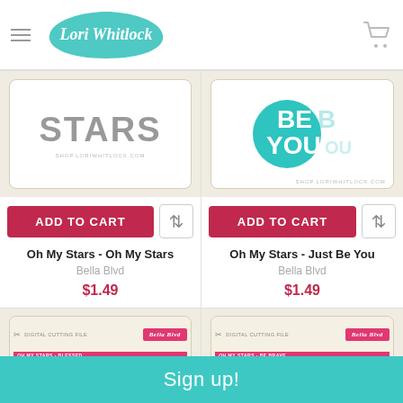[Figure (screenshot): Lori Whitlock shop header with logo, hamburger menu, and cart icon]
[Figure (photo): Oh My Stars - Oh My Stars product image showing STARS text in gray on white card with tan border]
ADD TO CART
Oh My Stars - Oh My Stars
Bella Blvd
$1.49
[Figure (photo): Oh My Stars - Just Be You product image showing BE YOU teal text on white card]
ADD TO CART
Oh My Stars - Just Be You
Bella Blvd
$1.49
[Figure (photo): Oh My Stars - Blessed product packaging showing BLESSED in teal]
[Figure (photo): Oh My Stars - Be Brave product packaging showing BE BRAVE in black block letters]
Sign up!